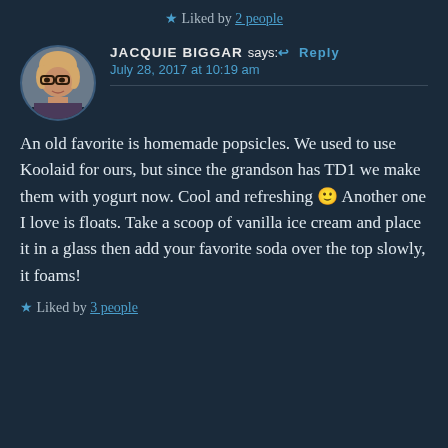★ Liked by 2 people
JACQUIE BIGGAR says: ↩ Reply
July 28, 2017 at 10:19 am
[Figure (photo): Circular avatar photo of a woman with glasses and shoulder-length blonde hair against a dark background]
An old favorite is homemade popsicles. We used to use Koolaid for ours, but since the grandson has TD1 we make them with yogurt now. Cool and refreshing 🙂 Another one I love is floats. Take a scoop of vanilla ice cream and place it in a glass then add your favorite soda over the top slowly, it foams!
★ Liked by 3 people